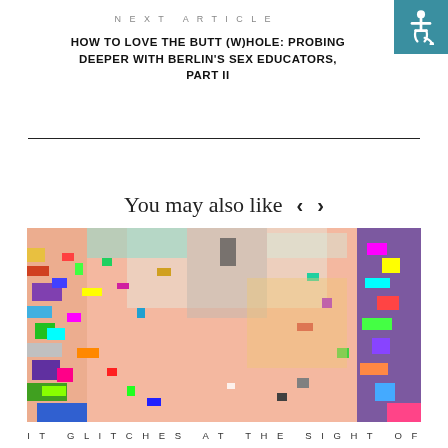NEXT ARTICLE
HOW TO LOVE THE BUTT (W)HOLE: PROBING DEEPER WITH BERLIN'S SEX EDUCATORS, PART II
You may also like
[Figure (photo): Glitch art image showing colorful pixelated distortion effects over what appears to be a photograph, with pink, teal, yellow, purple and multicolored pixel blocks scattered across the image]
IT GLITCHES AT THE SIGHT OF OUR NIPPLES